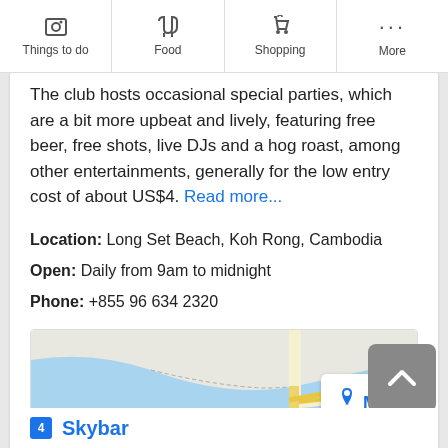Things to do | Food | Shopping | More
The club hosts occasional special parties, which are a bit more upbeat and lively, featuring free beer, free shots, live DJs and a hog roast, among other entertainments, generally for the low entry cost of about US$4. Read more...
Location: Long Set Beach, Koh Rong, Cambodia
Open: Daily from 9am to midnight
Phone: +855 96 634 2320
[Figure (map): Map showing Long Set Beach area, Koh Rong, Cambodia with yellow road lines and blue water features. MAP button overlay on right side.]
4 Skybar